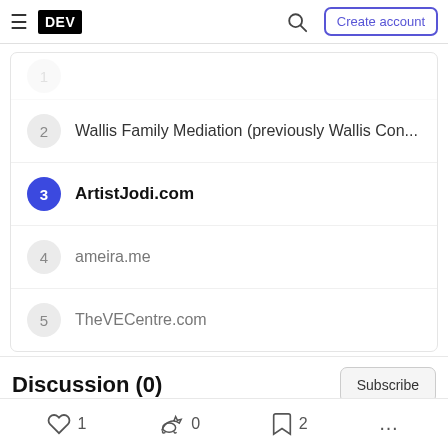DEV — Create account
2  Wallis Family Mediation (previously Wallis Con...
3  ArtistJodi.com
4  ameira.me
5  TheVECentre.com
Discussion (0)
Subscribe
1  0  2  ...